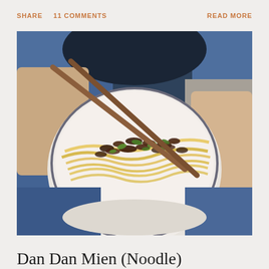SHARE   11 COMMENTS   READ MORE
[Figure (photo): Person holding a ceramic bowl of Dan Dan Mien noodles topped with ground meat and green onions, holding chopsticks]
Dan Dan Mien (Noodle)